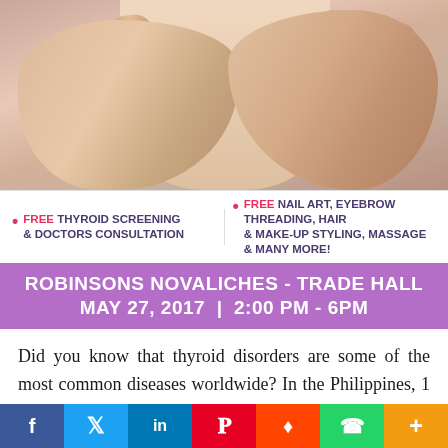[Figure (photo): Close-up photo of hands touching or examining a person's neck/throat area against skin background]
FREE THYROID SCREENING & DOCTORS CONSULTATION • FREE NAIL ART, EYEBROW THREADING, HAIR & MAKE-UP STYLING, MASSAGE & MANY MORE!
ROBINSONS NOVALICHES - TRADE HALL MAY 27, 2017 | 2:00 PM - 6PM
Did you know that thyroid disorders are some of the most common diseases worldwide? In the Philippines, 1 in every 11 adults suffer from goiter or other thyroid diseases. Unfortunately, these problems are also common in women and figures show that women are 4